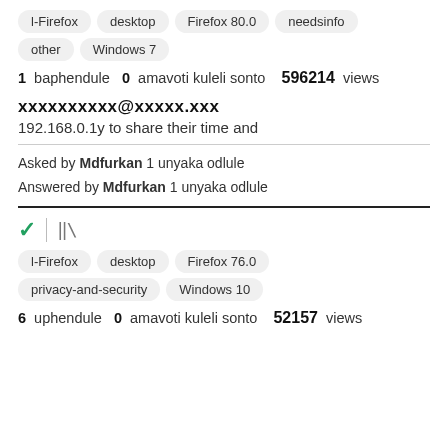l-Firefox  desktop  Firefox 80.0  needsinfo  other  Windows 7
1 baphendule  0 amavoti kuleli sonto  596214 views
xxxxxxxxxx@xxxxx.xxx
192.168.0.1y to share their time and
Asked by Mdfurkan 1 unyaka odlule
Answered by Mdfurkan 1 unyaka odlule
[Figure (other): Checkmark (green) and bar/library icon]
l-Firefox  desktop  Firefox 76.0  privacy-and-security  Windows 10
6 uphendule  0 amavoti kuleli sonto  52157 views